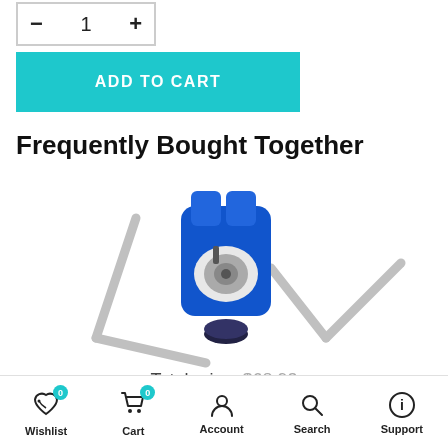- 1 +
ADD TO CART
Frequently Bought Together
[Figure (photo): Product image showing two allen/hex keys and a blue tube cutter tool in the center, displayed as frequently bought together items]
Total price: $68.93
ADD SELECTED TO CART
Wishlist 0  Cart 0  Account  Search  Support